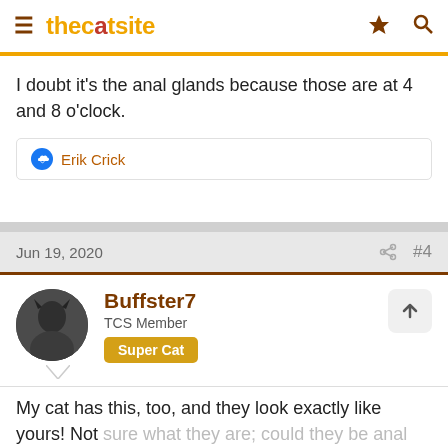thecatsite
I doubt it's the anal glands because those are at 4 and 8 o'clock.
Erik Crick
Jun 19, 2020  #4
Buffster7
TCS Member
Super Cat
My cat has this, too, and they look exactly like yours! Not sure what they are; could they be anal glands? I thought the were dingleberries, they're hard but don't come off. I